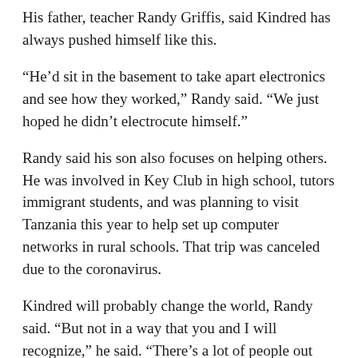His father, teacher Randy Griffis, said Kindred has always pushed himself like this.
“He’d sit in the basement to take apart electronics and see how they worked,” Randy said. “We just hoped he didn’t electrocute himself.”
Randy said his son also focuses on helping others. He was involved in Key Club in high school, tutors immigrant students, and was planning to visit Tanzania this year to help set up computer networks in rural schools. That trip was canceled due to the coronavirus.
Kindred will probably change the world, Randy said. “But not in a way that you and I will recognize,” he said. “There’s a lot of people out there changing things in small ways that we don’t even recognize.”